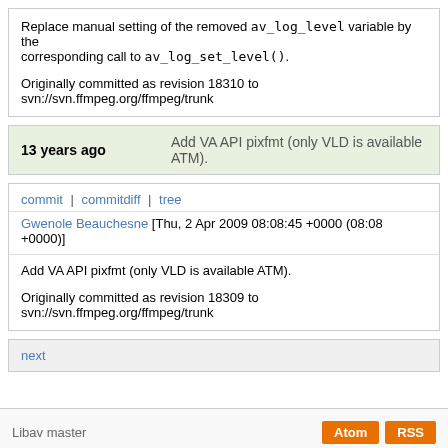Replace manual setting of the removed av_log_level variable by the corresponding call to av_log_set_level().

Originally committed as revision 18310 to svn://svn.ffmpeg.org/ffmpeg/trunk
13 years ago   Add VA API pixfmt (only VLD is available ATM).
commit | commitdiff | tree
Gwenole Beauchesne [Thu, 2 Apr 2009 08:08:45 +0000 (08:08 +0000)]
Add VA API pixfmt (only VLD is available ATM).

Originally committed as revision 18309 to svn://svn.ffmpeg.org/ffmpeg/trunk
next
Libav master   Atom  RSS